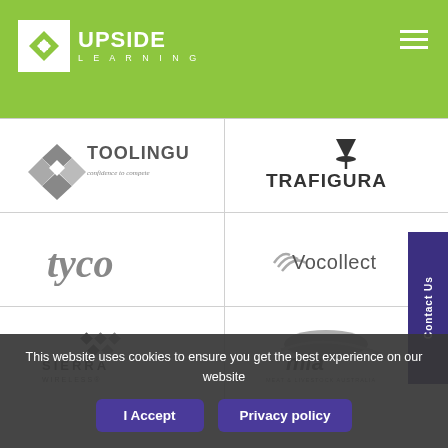Upside Learning
[Figure (logo): Toolingu logo - diamond shape icon with text 'TOOLINGU confidence to compete']
[Figure (logo): Trafigura logo - funnel/drop icon with text 'TRAFIGURA']
[Figure (logo): Tyco logo - italic lowercase 'tyco' in gray]
[Figure (logo): Vocollect logo - signal waves icon with text 'Vocollect']
[Figure (logo): Sierra Wireless logo - diamond patterns with text 'SIERRA WIRELESS']
[Figure (logo): MLA Meat & Livestock Australia logo - grey shape with 'mla' text]
This website uses cookies to ensure you get the best experience on our website
I Accept
Privacy policy